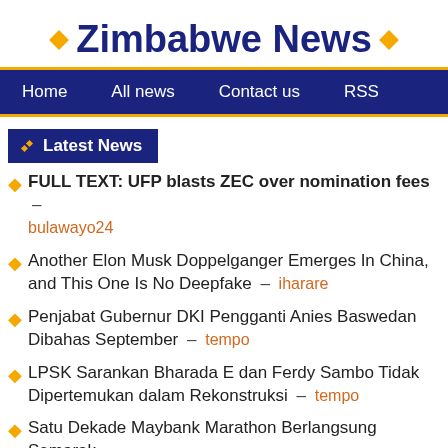Zimbabwe News
Home | All news | Contact us | RSS
Latest News
FULL TEXT: UFP blasts ZEC over nomination fees – bulawayo24
Another Elon Musk Doppelganger Emerges In China, and This One Is No Deepfake – iharare
Penjabat Gubernur DKI Pengganti Anies Baswedan Dibahas September – tempo
LPSK Sarankan Bharada E dan Ferdy Sambo Tidak Dipertemukan dalam Rekonstruksi – tempo
Satu Dekade Maybank Marathon Berlangsung Semarak –